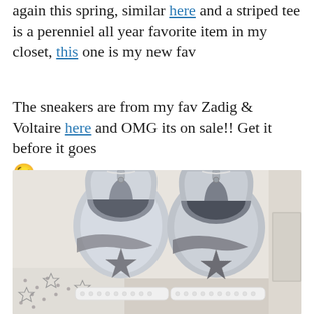again this spring, similar here and a striped tee is a perenniel all year favorite item in my closet, this one is my new fav
The sneakers are from my fav Zadig & Voltaire here and OMG its on sale!! Get it before it goes 😉
[Figure (photo): Two silver metallic high-top sneakers with glitter star details on the back, photographed from behind. The sneakers have white soles with studded edges and are placed on a patterned surface with star/dot designs.]